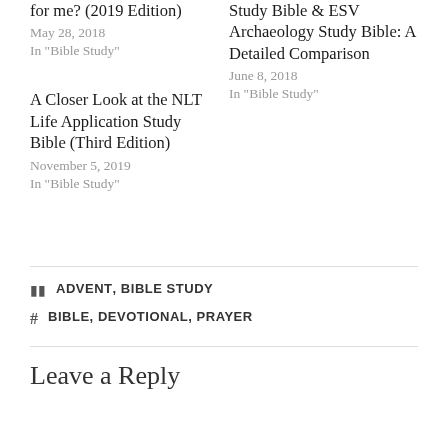for me? (2019 Edition)
May 28, 2018
In "Bible Study"
Study Bible & ESV Archaeology Study Bible: A Detailed Comparison
June 8, 2018
In "Bible Study"
A Closer Look at the NLT Life Application Study Bible (Third Edition)
November 5, 2019
In "Bible Study"
CATEGORIES: ADVENT, BIBLE STUDY
TAGS: BIBLE, DEVOTIONAL, PRAYER
Leave a Reply